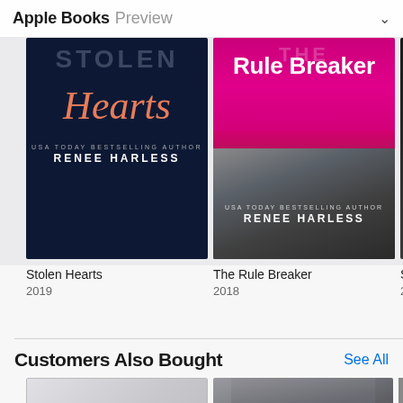Apple Books Preview
[Figure (photo): Book cover: Stolen Hearts by Renee Harless, 2019. Dark navy background with italic script 'Hearts' in coral/salmon color, author name in white uppercase letters.]
[Figure (photo): Book cover: The Rule Breaker by Renee Harless, 2018. Hot pink/magenta top half with white bold title text 'Rule Breaker', male torso in lower half, author name in white.]
[Figure (photo): Partially visible book cover, third item in row, dark background.]
Stolen Hearts
2019
The Rule Breaker
2018
Sto
201
Customers Also Bought
See All
[Figure (photo): Partially visible book cover at bottom left, light gray/white background, placeholder or minimalist cover design.]
[Figure (photo): Partially visible book cover at bottom right, black and white photo of male torso, dark background.]